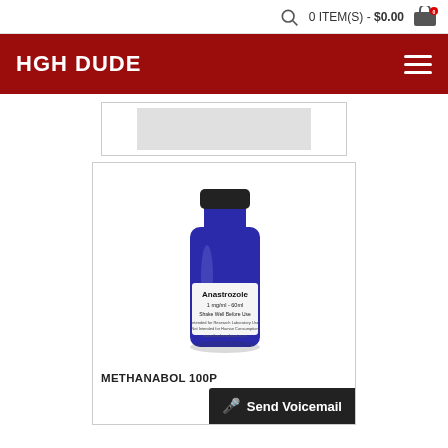0 ITEM(S) - $0.00
HGH DUDE
[Figure (photo): Blue glass bottle of Anastrozole 1mg/ml - 60ml with black cap and white label reading: Anastrozole 1 mg/ml - 60ml, Shake Well Before Use, Intended for Research Laboratory Use Not Intended for Human Consumption, www.thechemdepot.com]
METHANABOL 100P
🎤 Send Voicemail